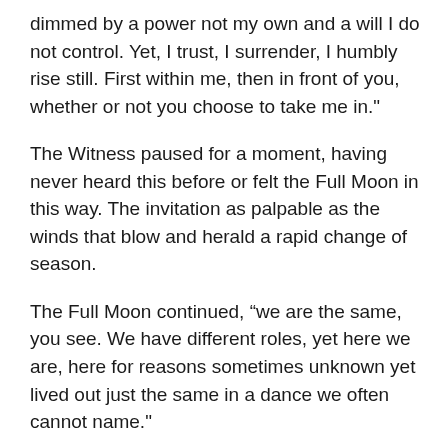dimmed by a power not my own and a will I do not control. Yet, I trust, I surrender, I humbly rise still. First within me, then in front of you, whether or not you choose to take me in."
The Witness paused for a moment, having never heard this before or felt the Full Moon in this way. The invitation as palpable as the winds that blow and herald a rapid change of season.
The Full Moon continued, “we are the same, you see. We have different roles, yet here we are, here for reasons sometimes unknown yet lived out just the same in a dance we often cannot name."
And with these words, the Full Moon glowed with wonderous yet effortless energy. The Witness wondered at Her beauty as the message landed deep within.